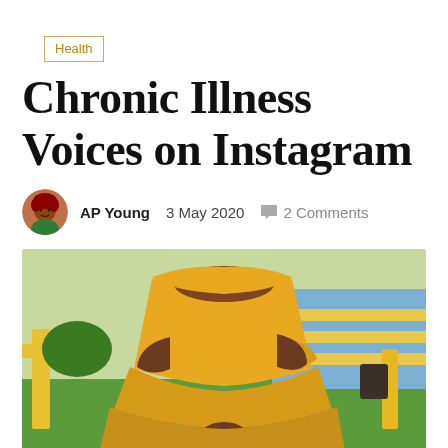Health
Chronic Illness Voices on Instagram
AP Young   3 May 2020   2 Comments
[Figure (photo): Person wearing a yellow off-shoulder tiered dress standing outdoors on green grass, with yellow painted structures and a blue striped building visible in the background.]